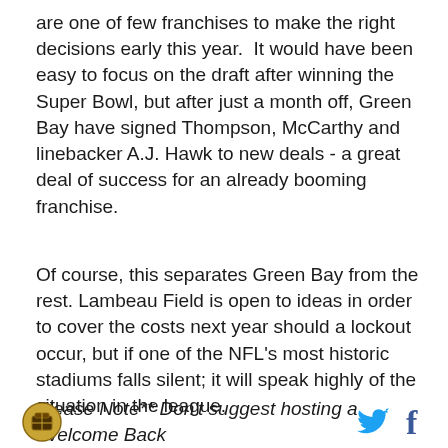are one of few franchises to make the right decisions early this year.  It would have been easy to focus on the draft after winning the Super Bowl, but after just a month off, Green Bay have signed Thompson, McCarthy and linebacker A.J. Hawk to new deals - a great deal of success for an already booming franchise.
Of course, this separates Green Bay from the rest. Lambeau Field is open to ideas in order to cover the costs next year should a lockout occur, but if one of the NFL's most historic stadiums falls silent; it will speak highly of the situation in the league.
Please Note** Don't suggest hosting a 'Welcome Back
[Figure (logo): Circular logo with a building/box icon inside, gold and brown tones]
[Figure (logo): Twitter bird icon in blue]
[Figure (logo): Facebook f icon in dark blue]